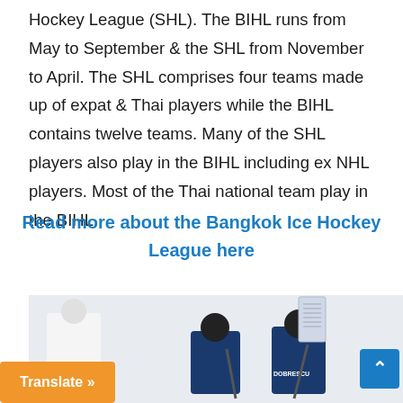Hockey League (SHL). The BIHL runs from May to September & the SHL from November to April. The SHL comprises four teams made up of expat & Thai players while the BIHL contains twelve teams. Many of the SHL players also play in the BIHL including ex NHL players. Most of the Thai national team play in the BIHL.
Read more about the Bangkok Ice Hockey League here
[Figure (photo): Ice hockey players on the ice, one wearing a jersey with 'DOBRESCU' on the back. A person in white appears on the left side.]